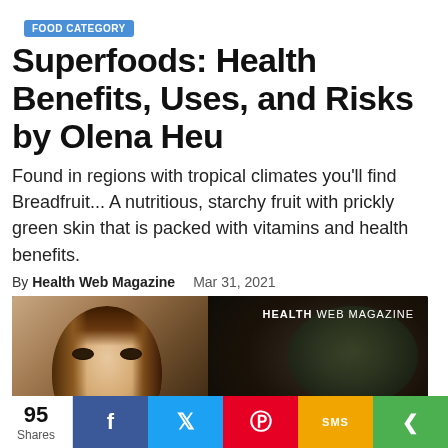FOOD CATEGORY
Superfoods: Health Benefits, Uses, and Risks by Olena Heu
Found in regions with tropical climates you'll find Breadfruit... A nutritious, starchy fruit with prickly green skin that is packed with vitamins and health benefits.
By Health Web Magazine   Mar 31, 2021
[Figure (photo): Article hero image showing a smiling woman on the left and a dark background with a breadfruit silhouette on the right, with text overlay reading 'IS BREADFRUIT THE NEXT SUPERFOOD?' and 'HEALTH WEB MAGAZINE' logo in the top right]
95 Shares | Facebook share | Twitter share | Pinterest share | SMS share | More share